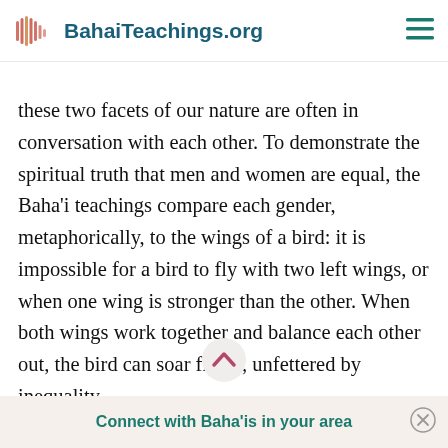BahaiTeachings.org
these two facets of our nature are often in conversation with each other. To demonstrate the spiritual truth that men and women are equal, the Baha'i teachings compare each gender, metaphorically, to the wings of a bird: it is impossible for a bird to fly with two left wings, or when one wing is stronger than the other. When both wings work together and balance each other out, the bird can soar freely, unfettered by inequality.
Connect with Baha'is in your area